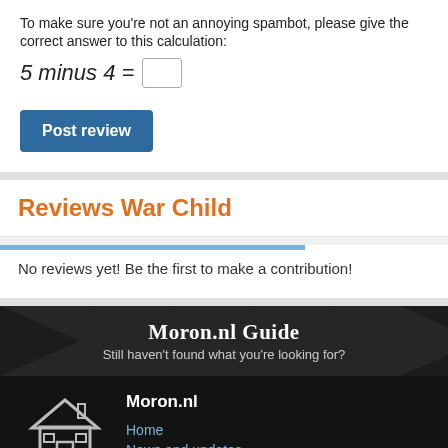To make sure you're not an annoying spambot, please give the correct answer to this calculation:
Post review
Reviews War Child
No reviews yet! Be the first to make a contribution!
Moron.nl Guide
Still haven't found what you're looking for?
Moron.nl
Home
News and updates
Recently added lyrics